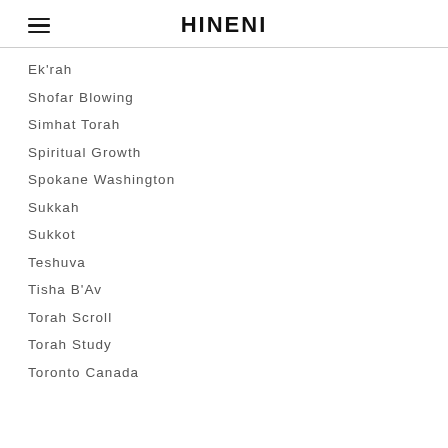HINENI
Ek'rah
Shofar Blowing
Simhat Torah
Spiritual Growth
Spokane Washington
Sukkah
Sukkot
Teshuva
Tisha B'Av
Torah Scroll
Torah Study
Toronto Canada